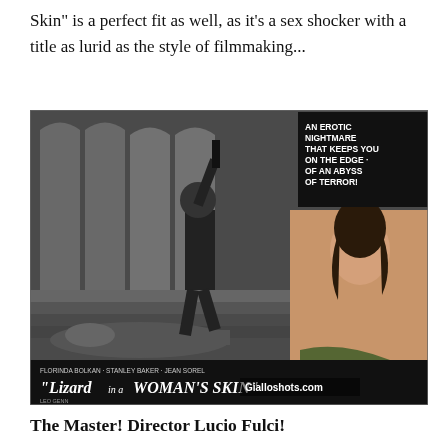Skin" is a perfect fit as well, as it's a sex shocker with a title as lurid as the style of filmmaking...
[Figure (photo): Movie lobby card for 'Lizard in a Woman's Skin' featuring black and white action scene with a figure raising a weapon over a person on the ground, plus a color inset of a woman posing. Text reads: AN EROTIC NIGHTMARE THAT KEEPS YOU ON THE EDGE OF AN ABYSS OF TERROR! Stars: Florinda Bolkan, Stanley Baker, Jean Sorel, Leo Genn. Watermark: Gialloshots.com]
The Master! Director Lucio Fulci!